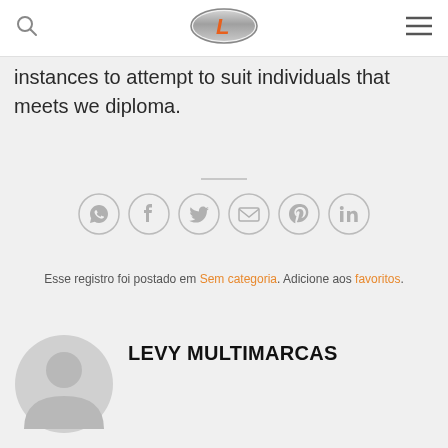[Figure (logo): Levy Multimarcas logo — metallic oval badge with orange italic L letter]
instances to attempt to suit individuals that meets we diploma.
[Figure (infographic): Row of six social sharing icon circles: WhatsApp, Facebook, Twitter, Email, Pinterest, LinkedIn]
Esse registro foi postado em Sem categoria. Adicione aos favoritos.
[Figure (photo): Default grey user avatar silhouette]
LEVY MULTIMARCAS